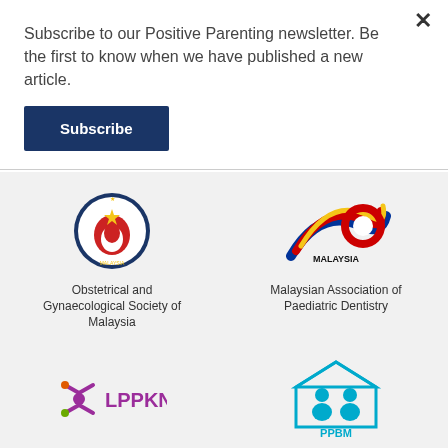Subscribe to our Positive Parenting newsletter. Be the first to know when we have published a new article.
Subscribe
[Figure (logo): Obstetrical and Gynaecological Society of Malaysia coat of arms logo]
Obstetrical and Gynaecological Society of Malaysia
[Figure (logo): Malaysian Association of Paediatric Dentistry logo with red yellow blue ribbon]
Malaysian Association of Paediatric Dentistry
[Figure (logo): LPPKN logo with purple star/human figure icon]
National Population and Family Development Board Malaysia
[Figure (logo): PPBM Association of Registered Childcare Providers Malaysia logo with house and children]
Association of Registered Childcare Providers Malaysia
[Figure (logo): Partial blue globe logo at bottom]